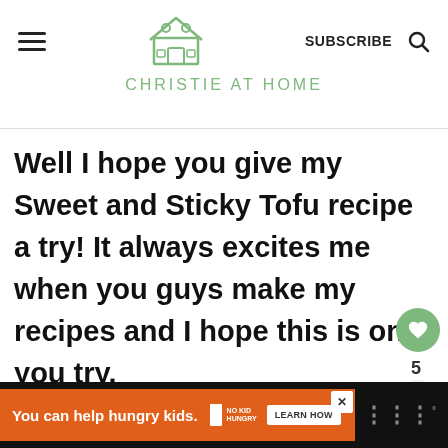CHRISTIE AT HOME
Well I hope you give my Sweet and Sticky Tofu recipe a try! It always excites me when you guys make my recipes and I hope this is one you try.
[Figure (screenshot): Advertisement bar at bottom: orange background with 'You can help hungry kids.' text, No Kid Hungry logo, and Learn How button]
You can help hungry kids. NO KID HUNGRY LEARN HOW